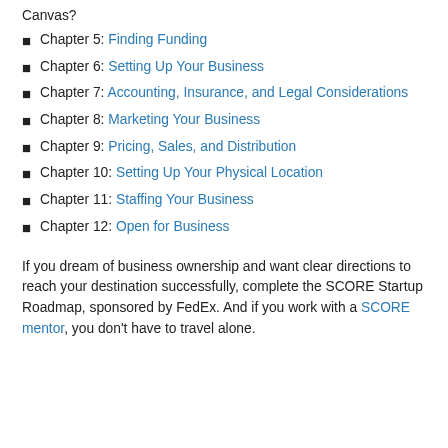Canvas?
Chapter 5: Finding Funding
Chapter 6: Setting Up Your Business
Chapter 7: Accounting, Insurance, and Legal Considerations
Chapter 8: Marketing Your Business
Chapter 9: Pricing, Sales, and Distribution
Chapter 10: Setting Up Your Physical Location
Chapter 11: Staffing Your Business
Chapter 12: Open for Business
If you dream of business ownership and want clear directions to reach your destination successfully, complete the SCORE Startup Roadmap, sponsored by FedEx. And if you work with a SCORE mentor, you don't have to travel alone.